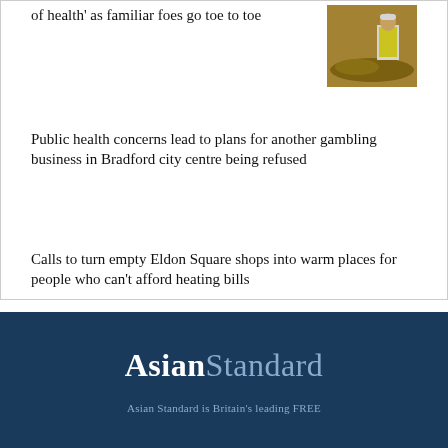of health' as familiar foes go toe to toe
[Figure (photo): Person in high-visibility jacket outdoors near mounds of material]
Public health concerns lead to plans for another gambling business in Bradford city centre being refused
Calls to turn empty Eldon Square shops into warm places for people who can't afford heating bills
Asian Standard — Asian Standard is Britain's leading FREE